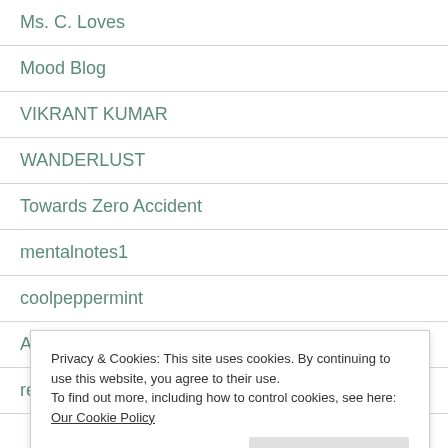Ms. C. Loves
Mood Blog
VIKRANT KUMAR
WANDERLUST
Towards Zero Accident
mentalnotes1
coolpeppermint
Anita Bacha
refugeenotes
A…
P…
C…
Tiny Life
Privacy & Cookies: This site uses cookies. By continuing to use this website, you agree to their use.
To find out more, including how to control cookies, see here: Our Cookie Policy
Close and accept